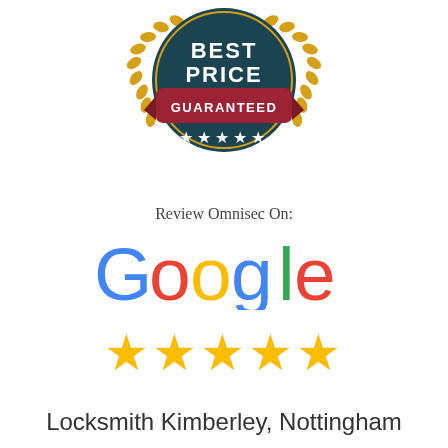[Figure (logo): Best Price Guaranteed badge: dark teal circle with gold laurel wreath, white text BEST PRICE, red ribbon banner with white text GUARANTEED, five white stars below]
Review Omnisec On:
[Figure (logo): Google logo in multicolor letters: G(blue), o(red), o(yellow), g(blue), l(green), e(red)]
[Figure (other): Five gold star rating icons]
Locksmith Kimberley, Nottingham